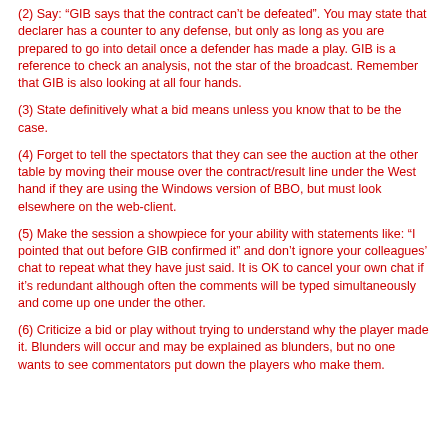(2) Say: "GIB says that the contract can't be defeated". You may state that declarer has a counter to any defense, but only as long as you are prepared to go into detail once a defender has made a play. GIB is a reference to check an analysis, not the star of the broadcast. Remember that GIB is also looking at all four hands.
(3) State definitively what a bid means unless you know that to be the case.
(4) Forget to tell the spectators that they can see the auction at the other table by moving their mouse over the contract/result line under the West hand if they are using the Windows version of BBO, but must look elsewhere on the web-client.
(5) Make the session a showpiece for your ability with statements like: “I pointed that out before GIB confirmed it” and don’t ignore your colleagues’ chat to repeat what they have just said. It is OK to cancel your own chat if it’s redundant although often the comments will be typed simultaneously and come up one under the other.
(6) Criticize a bid or play without trying to understand why the player made it. Blunders will occur and may be explained as blunders, but no one wants to see commentators put down the players who make them.